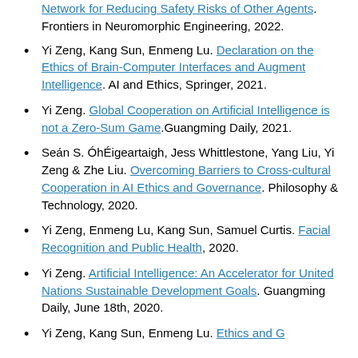Network for Reducing Safety Risks of Other Agents. Frontiers in Neuromorphic Engineering, 2022.
Yi Zeng, Kang Sun, Enmeng Lu. Declaration on the Ethics of Brain-Computer Interfaces and Augment Intelligence. AI and Ethics, Springer, 2021.
Yi Zeng. Global Cooperation on Artificial Intelligence is not a Zero-Sum Game. Guangming Daily, 2021.
Seán S. ÓhÉigeartaigh, Jess Whittlestone, Yang Liu, Yi Zeng & Zhe Liu. Overcoming Barriers to Cross-cultural Cooperation in AI Ethics and Governance. Philosophy & Technology, 2020.
Yi Zeng, Enmeng Lu, Kang Sun, Samuel Curtis. Facial Recognition and Public Health, 2020.
Yi Zeng. Artificial Intelligence: An Accelerator for United Nations Sustainable Development Goals. Guangming Daily, June 18th, 2020.
Yi Zeng, Kang Sun, Enmeng Lu. Ethics and G...